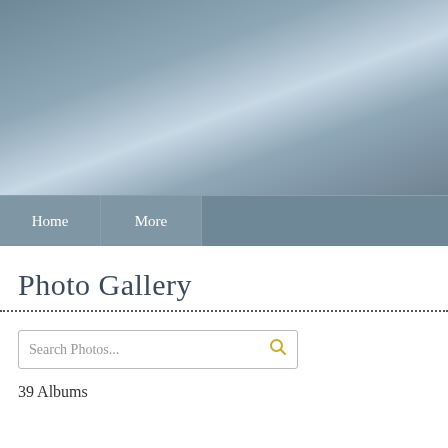[Figure (photo): Gradient header image with blue-grey tones, lighter in the upper center area]
Home
More
Photo Gallery
Search Photos...
39 Albums